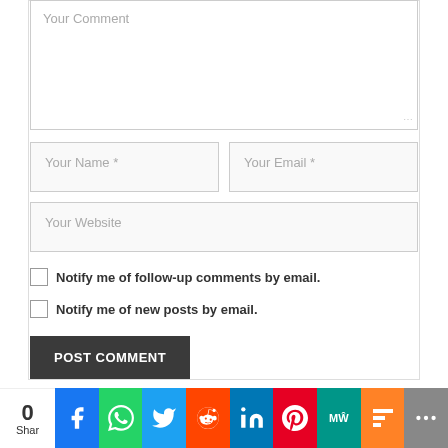[Figure (screenshot): Comment form with textarea labeled 'Your Comment', fields for 'Your Name *' and 'Your Email *', a 'Your Website' field, two checkboxes for email notifications, and a POST COMMENT button]
Notify me of follow-up comments by email.
Notify me of new posts by email.
POST COMMENT
[Figure (infographic): Social share bar showing share count of 0, and icons for Facebook, WhatsApp, Twitter, Reddit, LinkedIn, Pinterest, MeWe, Mix, and More]